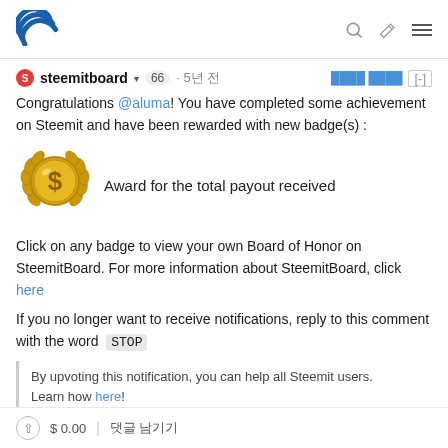Steemit navigation header
steemitboard ▾ 66 · 5년 전 [−]
Congratulations @aluma! You have completed some achievement on Steemit and have been rewarded with new badge(s) :
[Figure (illustration): Gold badge/medal with dollar sign and laurel wreath, award for total payout received]
Award for the total payout received
Click on any badge to view your own Board of Honor on SteemitBoard. For more information about SteemitBoard, click here
If you no longer want to receive notifications, reply to this comment with the word STOP
By upvoting this notification, you can help all Steemit users. Learn how here!
$ 0.00 | 댓글 남기기